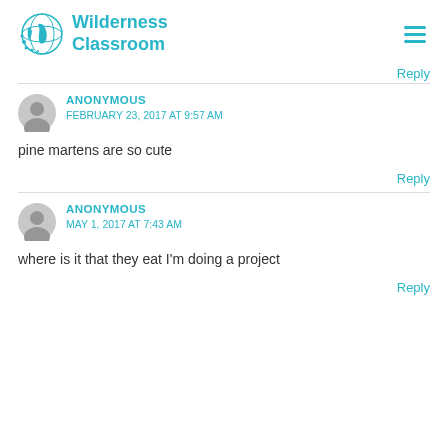Wilderness Classroom
Reply
ANONYMOUS
FEBRUARY 23, 2017 AT 9:57 AM
pine martens are so cute
Reply
ANONYMOUS
MAY 1, 2017 AT 7:43 AM
where is it that they eat I'm doing a project
Reply